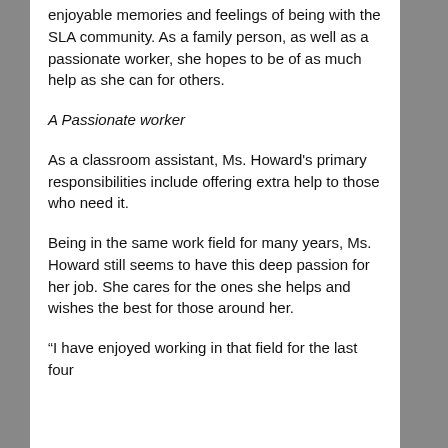enjoyable memories and feelings of being with the SLA community. As a family person, as well as a passionate worker, she hopes to be of as much help as she can for others.
A Passionate worker
As a classroom assistant, Ms. Howard's primary responsibilities include offering extra help to those who need it.
Being in the same work field for many years, Ms. Howard still seems to have this deep passion for her job. She cares for the ones she helps and wishes the best for those around her.
“I have enjoyed working in that field for the last four